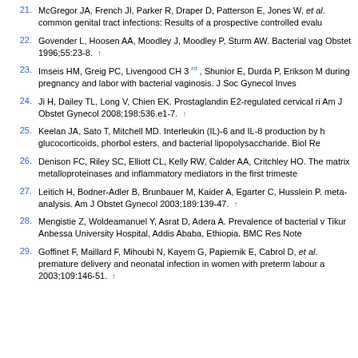21. McGregor JA, French JI, Parker R, Draper D, Patterson E, Jones W, et al. common genital tract infections: Results of a prospective controlled evalu
22. Govender L, Hoosen AA, Moodley J, Moodley P, Sturm AW. Bacterial vag Obstet 1996;55:23-8.
23. Imseis HM, Greig PC, Livengood CH 3rd, Shunior E, Durda P, Erikson M during pregnancy and labor with bacterial vaginosis. J Soc Gynecol Inves
24. Ji H, Dailey TL, Long V, Chien EK. Prostaglandin E2-regulated cervical ri Am J Obstet Gynecol 2008;198:536.e1-7.
25. Keelan JA, Sato T, Mitchell MD. Interleukin (IL)-6 and IL-8 production by h glucocorticoids, phorbol esters, and bacterial lipopolysaccharide. Biol Re
26. Denison FC, Riley SC, Elliott CL, Kelly RW, Calder AA, Critchley HO. The matrix metalloproteinases and inflammatory mediators in the first trimeste
27. Leitich H, Bodner-Adler B, Brunbauer M, Kaider A, Egarter C, Husslein P. meta-analysis. Am J Obstet Gynecol 2003;189:139-47.
28. Mengistie Z, Woldeamanuel Y, Asrat D, Adera A. Prevalence of bacterial v Tikur Anbessa University Hospital, Addis Ababa, Ethiopia. BMC Res Note
29. Goffinet F, Maillard F, Mihoubi N, Kayem G, Papiernik E, Cabrol D, et al. premature delivery and neonatal infection in women with preterm labour a 2003;109:146-51.